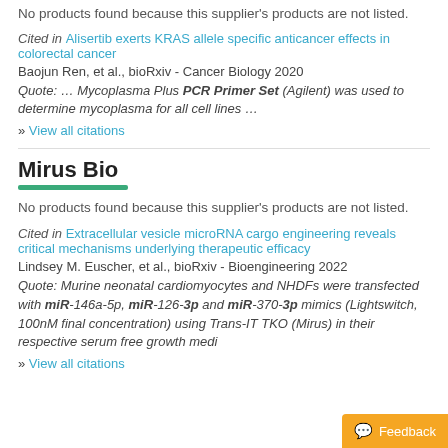No products found because this supplier's products are not listed.
Cited in Alisertib exerts KRAS allele specific anticancer effects in colorectal cancer
Baojun Ren, et al., bioRxiv - Cancer Biology 2020
Quote: … Mycoplasma Plus PCR Primer Set (Agilent) was used to determine mycoplasma for all cell lines …
» View all citations
Mirus Bio
No products found because this supplier's products are not listed.
Cited in Extracellular vesicle microRNA cargo engineering reveals critical mechanisms underlying therapeutic efficacy
Lindsey M. Euscher, et al., bioRxiv - Bioengineering 2022
Quote: Murine neonatal cardiomyocytes and NHDFs were transfected with miR-146a-5p, miR-126-3p and miR-370-3p mimics (Lightswitch, 100nM final concentration) using Trans-IT TKO (Mirus) in their respective serum free growth medi…
» View all citations